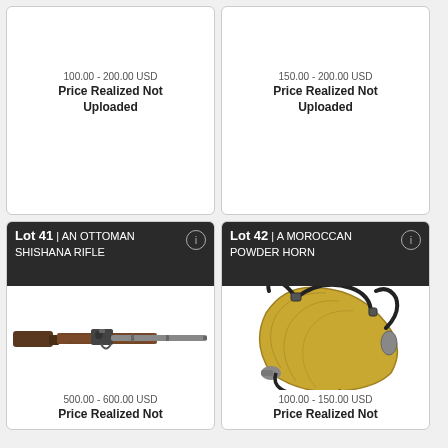100.00 - 200.00 USD
Price Realized Not Uploaded
150.00 - 200.00 USD
Price Realized Not Uploaded
Lot 41 | AN OTTOMAN SHISHANA RIFLE
[Figure (photo): An Ottoman Shishana rifle, long flintlock musket with dark wood stock and long metal barrel]
500.00 - 600.00 USD
Price Realized Not
Lot 42 | A MOROCCAN POWDER HORN
[Figure (photo): A Moroccan powder horn, curved brass/gold horn with dark leather straps and metal fittings]
100.00 - 150.00 USD
Price Realized Not